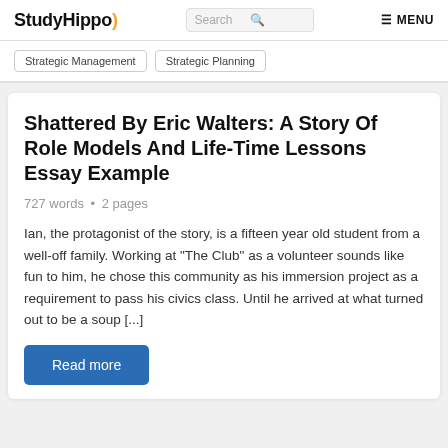StudyHippo
Strategic Management
Strategic Planning
Shattered By Eric Walters: A Story Of Role Models And Life-Time Lessons Essay Example
727 words • 2 pages
Ian, the protagonist of the story, is a fifteen year old student from a well-off family. Working at "The Club" as a volunteer sounds like fun to him, he chose this community as his immersion project as a requirement to pass his civics class. Until he arrived at what turned out to be a soup [...]
Read more